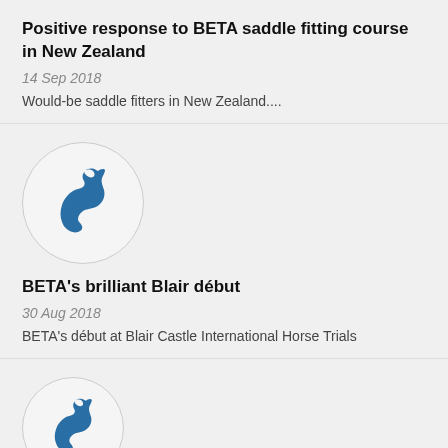Positive response to BETA saddle fitting course in New Zealand
14 Sep 2018
Would-be saddle fitters in New Zealand....
[Figure (illustration): Circular logo with blue horse head silhouette on light grey background]
BETA's brilliant Blair début
30 Aug 2018
BETA's début at Blair Castle International Horse Trials
[Figure (illustration): Partial circular logo with blue horse head silhouette, cropped at bottom of page]